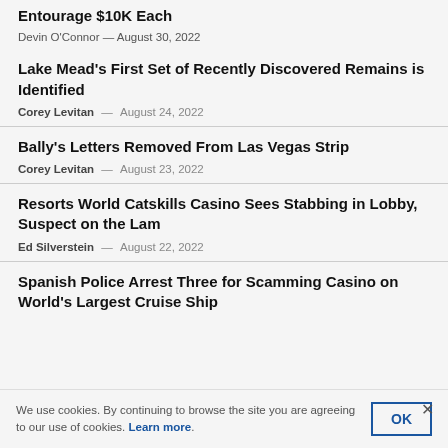Entourage $10K Each
Devin O'Connor — August 30, 2022
Lake Mead's First Set of Recently Discovered Remains is Identified
Corey Levitan — August 24, 2022
Bally's Letters Removed From Las Vegas Strip
Corey Levitan — August 23, 2022
Resorts World Catskills Casino Sees Stabbing in Lobby, Suspect on the Lam
Ed Silverstein — August 22, 2022
Spanish Police Arrest Three for Scamming Casino on World's Largest Cruise Ship
We use cookies. By continuing to browse the site you are agreeing to our use of cookies. Learn more.